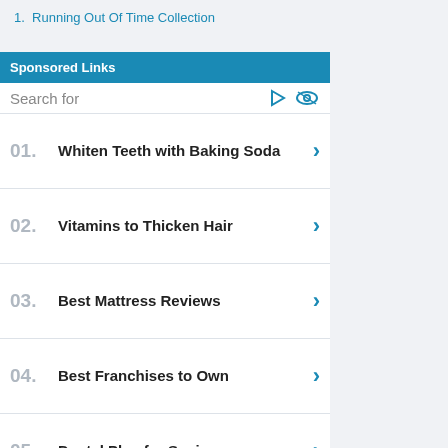1. Running Out Of Time Collection
Sponsored Links
Search for
01. Whiten Teeth with Baking Soda
02. Vitamins to Thicken Hair
03. Best Mattress Reviews
04. Best Franchises to Own
05. Dental Plan for Seniors